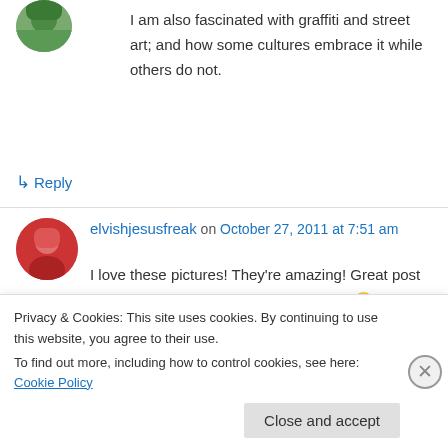[Figure (photo): Small circular avatar photo (partial, top of page) showing a person outdoors]
I am also fascinated with graffiti and street art; and how some cultures embrace it while others do not.
↳ Reply
elvishjesusfreak on October 27, 2011 at 7:51 am
[Figure (photo): Circular avatar photo of a person in red]
I love these pictures! They're amazing! Great post and congrats on being freshly pressed. 🙂
These pictures made my day!
Privacy & Cookies: This site uses cookies. By continuing to use this website, you agree to their use.
To find out more, including how to control cookies, see here: Cookie Policy
Close and accept